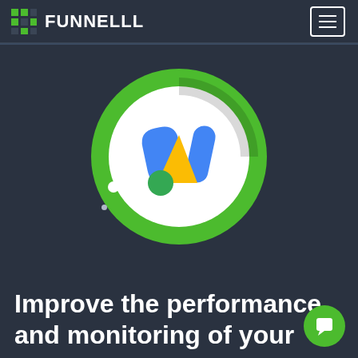FUNNELLL
[Figure (logo): Google Ads logo inside a green circular ring on dark background]
Improve the performance and monitoring of your